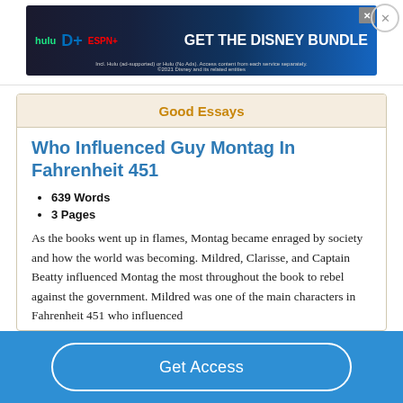[Figure (screenshot): Disney Bundle advertisement banner with Hulu, Disney+, ESPN+ logos and 'GET THE DISNEY BUNDLE' call to action on dark blue background]
Good Essays
Who Influenced Guy Montag In Fahrenheit 451
639 Words
3 Pages
As the books went up in flames, Montag became enraged by society and how the world was becoming. Mildred, Clarisse, and Captain Beatty influenced Montag the most throughout the book to rebel against the government. Mildred was one of the main characters in Fahrenheit 451 who influenced
Get Access